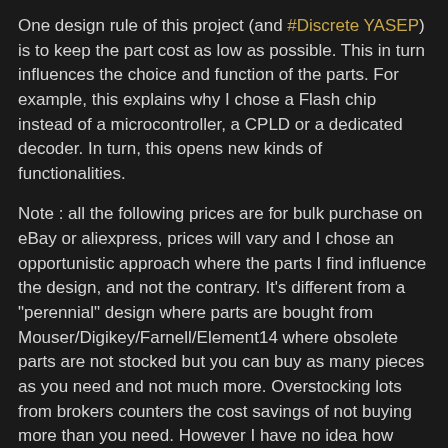One design rule of this project (and #Discrete YASEP) is to keep the part cost as low as possible. This in turn influences the choice and function of the parts. For example, this explains why I chose a Flash chip instead of a microcontroller, a CPLD or a dedicated decoder. In turn, this opens new kinds of functionalities.
Note : all the following prices are for bulk purchase on eBay or aliexpress, prices will vary and I chose an opportunistic approach where the parts I find influence the design, and not the contrary. It's different from a "perennial" design where parts are bought from Mouser/Digikey/Farnell/Element14 where obsolete parts are not stocked but you can buy as many pieces as you need and not much more. Overstocking lots from brokers counters the cost savings of not buying more than you need. However I have no idea how many modules I'll build (maybe 50-100 for the #Discrete YASEP) so it's a rough estimation. PCB costs and soldering are not counted either...